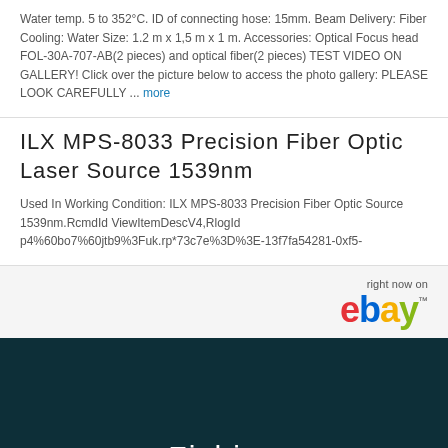Water temp. 5 to 352°C. ID of connecting hose: 15mm. Beam Delivery: Fiber Cooling: Water Size: 1.2 m x 1,5 m x 1 m. Accessories: Optical Focus head FOL-30A-707-AB(2 pieces) and optical fiber(2 pieces) TEST VIDEO ON GALLERY! Click over the picture below to access the photo gallery: PLEASE LOOK CAREFULLY ... more
ILX MPS-8033 Precision Fiber Optic Laser Source 1539nm
Used In Working Condition: ILX MPS-8033 Precision Fiber Optic Source 1539nm.RcmdId ViewItemDescV4,RlogId p4%60bo7%60jtb9%3Fuk.rp*73c7e%3D%3E-13f7fa54281-0xf5-
[Figure (logo): eBay logo with 'right now on' text above it]
Fishing
Destinations